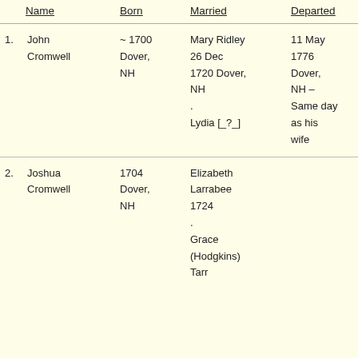|  | Name | Born | Married | Departed |
| --- | --- | --- | --- | --- |
| 1. | John Cromwell | ~ 1700 Dover, NH | Mary Ridley 26 Dec 1720 Dover, NH . Lydia [_?_] | 11 May 1776 Dover, NH – Same day as his wife |
| 2. | Joshua Cromwell | 1704 Dover, NH | Elizabeth Larrabee 1724 . Grace (Hodgkins) Tarr |  |